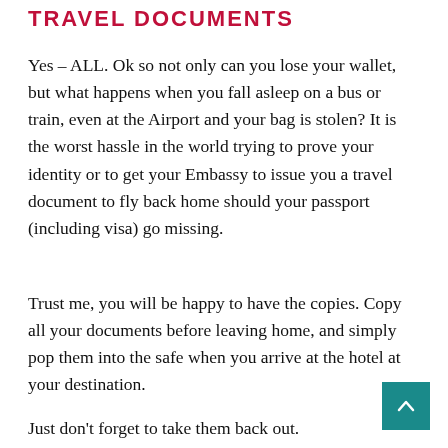TRAVEL DOCUMENTS
Yes – ALL. Ok so not only can you lose your wallet, but what happens when you fall asleep on a bus or train, even at the Airport and your bag is stolen? It is the worst hassle in the world trying to prove your identity or to get your Embassy to issue you a travel document to fly back home should your passport (including visa) go missing.
Trust me, you will be happy to have the copies. Copy all your documents before leaving home, and simply pop them into the safe when you arrive at the hotel at your destination.
Just don't forget to take them back out.